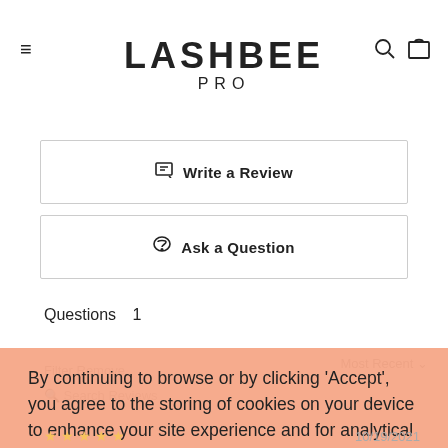LASHBEE PRO
Write a Review
Ask a Question
Questions  1
Most Recent
Filter Remove
Search Reviews
By continuing to browse or by clicking 'Accept', you agree to the storing of cookies on your device to enhance your site experience and for analytical purposes. To learn more about how we use cookies, please see our privacy policy.
ACCEPT & CLOSE
10/19/2021